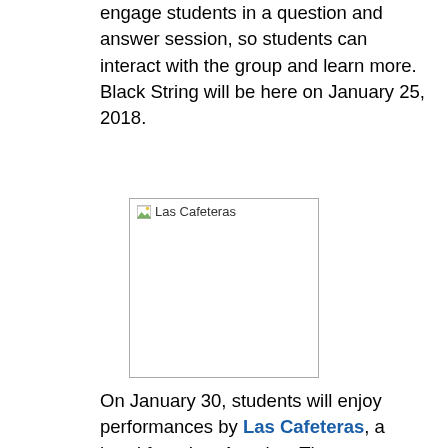engage students in a question and answer session, so students can interact with the group and learn more. Black String will be here on January 25, 2018.
[Figure (photo): Image placeholder labeled 'Las Cafeteras' with a broken image icon]
On January 30, students will enjoy performances by Las Cafeteras, a band from Los Angeles. They are influenced by the culture, storytelling, and poetic music of Son Jarocho, a traditional music from Veracruz, Mexico. They will sing in English and Spanish and play a variety of instruments including a requinto (a small guitar-shaped string instrument), a box-like percussion instrument called a cajon, and even a donkey jawbone! They also use a wooden platform called the tarima to